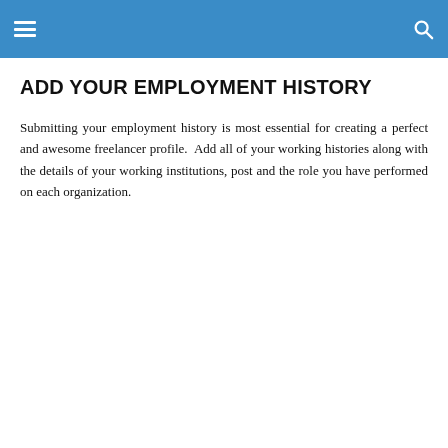ADD YOUR EMPLOYMENT HISTORY
Submitting your employment history is most essential for creating a perfect and awesome freelancer profile.  Add all of your working histories along with the details of your working institutions, post and the role you have performed on each organization.